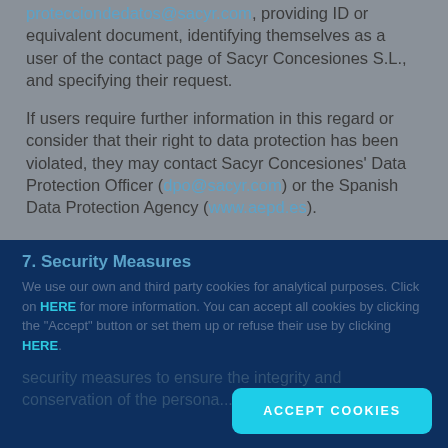protecciondedatos@sacyr.com, providing ID or equivalent document, identifying themselves as a user of the contact page of Sacyr Concesiones S.L., and specifying their request.
If users require further information in this regard or consider that their right to data protection has been violated, they may contact Sacyr Concesiones' Data Protection Officer (dpo@sacyr.com) or the Spanish Data Protection Agency (www.aepd.es).
7. Security Measures
We use our own and third party cookies for analytical purposes. Click on HERE for more information. You can accept all cookies by clicking the "Accept" button or set them up or refuse their use by clicking HERE.
security measures to ensure the integrity and conservation of the personal...